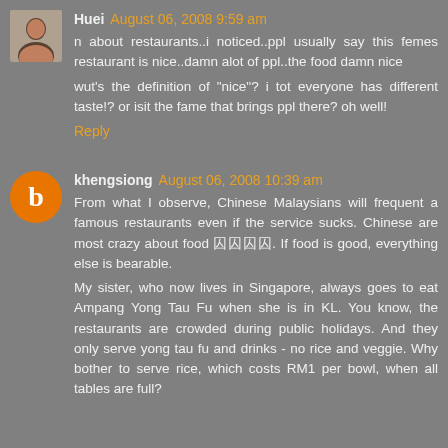Huei August 06, 2008 9:59 am
n about restaurants..i noticed..ppl usually say this femes restaurant is nice..damn alot of ppl..the food damn nice

wut's the definition of "nice"? i tot everyone has different taste!? or isit the fame that brings ppl there? oh well!
Reply
khengsiong August 06, 2008 10:39 am
From what I observe, Chinese Malaysians will frequent a famous restaurants even if the service sucks. Chinese are most crazy about food 囧囧囧囧. If food is good, everything else is bearable.

My sister, who now lives in Singapore, always goes to eat Ampang Yong Tau Fu when she is in KL. You know, the restaurants are crowded during public holidays. And they only serve yong tau fu and drinks - no rice and veggie. Why bother to serve rice, which costs RM1 per bowl, when all tables are full?